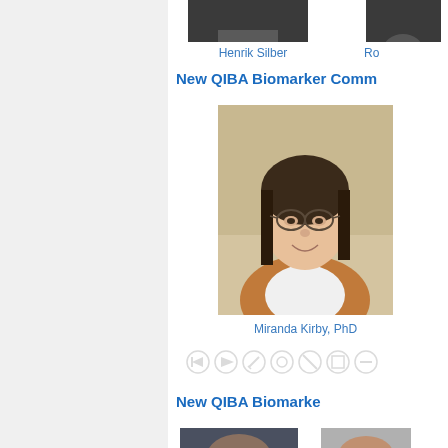[Figure (photo): Headshot photo of Henrik Silber (partially visible, top portion cropped)]
Henrik Silber
Ro
New QIBA Biomarker Comm
[Figure (photo): Headshot photo of Miranda Kirby, PhD — woman with glasses and brown cardigan]
Miranda Kirby, PhD
[Figure (other): Media player / navigation control icons row]
New QIBA Biomarke
[Figure (photo): Headshot photo of a man wearing glasses — bottom of page, partially cut off]
[Figure (photo): Partial headshot photo at bottom right — partially cut off]